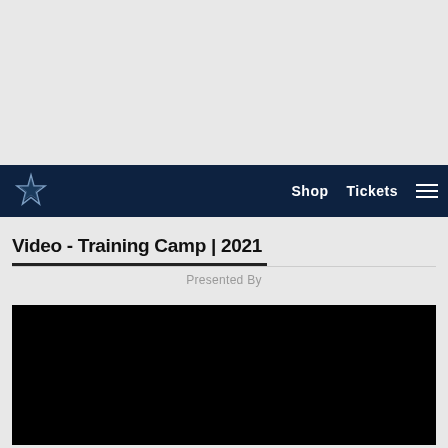[Figure (screenshot): Top grey ad/banner area]
Shop   Tickets   ☰
Video - Training Camp | 2021
Presented By
[Figure (screenshot): Black video player area]